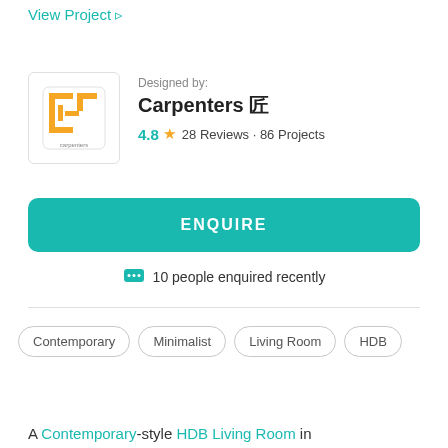View Project →
[Figure (logo): Carpenters interior design company logo with orange Chinese characters in a square border]
Designed by:
Carpenters 匠
4.8 ★ 28 Reviews · 86 Projects
ENQUIRE
10 people enquired recently
Contemporary
Minimalist
Living Room
HDB
A Contemporary-style HDB Living Room in